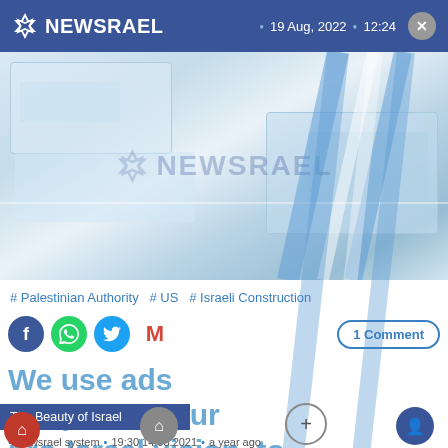NEWSRAEL  •  19 Aug, 2022  •  12:24
[Figure (screenshot): Aerial map/satellite view of an Israeli construction area, overlaid with the NEWSRAEL logo and blue diagonal stripe graphics]
# Palestinian Authority  # US  # Israeli Construction
[Figure (infographic): Social share buttons: Facebook (blue circle), WhatsApp (green circle), Twitter (blue circle), Gmail (M icon), and a '1 Comment' button on the right]
We use ads to sponsor our pro-Israel vision, to bring to you real news from the Holy Land, for free.
The Beauty of Israel
• Newsrael system  • 19:30 14.03.2021  • a year ago